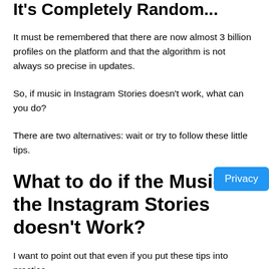It's Completely Random...
It must be remembered that there are now almost 3 billion profiles on the platform and that the algorithm is not always so precise in updates.
So, if music in Instagram Stories doesn't work, what can you do?
There are two alternatives: wait or try to follow these little tips.
What to do if the Music in the Instagram Stories doesn't Work?
I want to point out that even if you put these tips into practice,